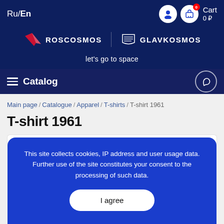Ru/En  Cart 0 ₽
[Figure (logo): Roscosmos rocket logo with text ROSCOSMOS and Glavkosmos logo with text GLAVKOSMOS on dark blue background]
let's go to space
≡ Catalog
Main page / Catalogue / Apparel / T-shirts / T-shirt 1961
T-shirt 1961
This site collects cookies, IP address and user usage data. Further use of the site constitutes your consent to the processing of such data.
I agree